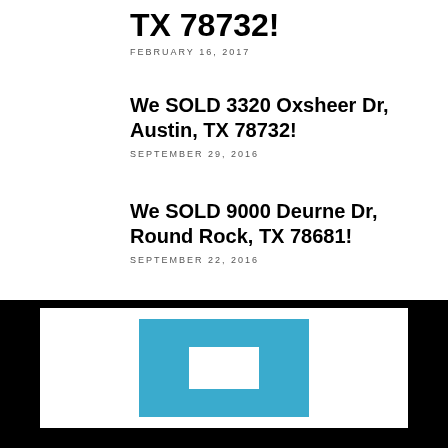TX 78732!
FEBRUARY 16, 2017
We SOLD 3320 Oxsheer Dr, Austin, TX 78732!
SEPTEMBER 29, 2016
We SOLD 9000 Deurne Dr, Round Rock, TX 78681!
SEPTEMBER 22, 2016
[Figure (logo): Black footer section with white card containing a blue square with white inner rectangle — likely a real estate company logo placeholder]